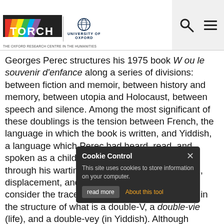[Figure (logo): TORCH (The Oxford Research Centre in the Humanities) logo with colorful stripes and University of Oxford logo with crest]
Georges Perec structures his 1975 book W ou le souvenir d'enfance along a series of divisions: between fiction and memoir, between history and memory, between utopia and Holocaust, between speech and silence. Among the most significant of these doublings is the tension between French, the language in which the book is written, and Yiddish, a language which Perec had heard, read, and spoken as a child but which was suppressed through his wartime experiences of orphanhood, displacement, and belonging. This lecture will consider the traces of Yiddish in Perec's writing in the structure of what is a double-V, a double-vie (life), and a double-vey (in Yiddish). Although Yiddish is a crucial missing sign for connecting the many strands of
[Figure (screenshot): Cookie Control popup overlay with dark background, showing 'Cookie Control' title with X close button, text 'This site uses cookies to store information on your computer.', 'About this tool' link in orange, and 'read more' button]